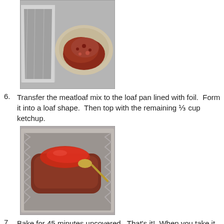[Figure (photo): Foil-lined loaf pan next to a glass bowl containing raw meatloaf mixture (red/brown mixed meat).]
Transfer the meatloaf mix to the loaf pan lined with foil. Form it into a loaf shape. Then top with the remaining ⅓ cup ketchup.
[Figure (photo): Foil-lined loaf pan with formed meatloaf topped with red ketchup and a spoon resting on top.]
Bake for 45 minutes uncovered. That's it! When you take it out, let it rest for 5-10 minutes until the juices soak back into the meat.
[Figure (photo): Partially visible photo of a cooked meatloaf in a foil-lined pan, cropped at bottom of page.]